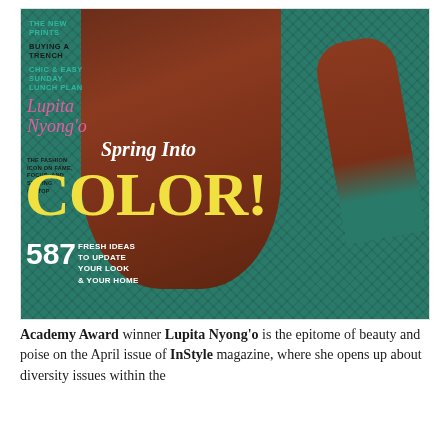[Figure (photo): Magazine cover of InStyle showing Lupita Nyong'o wearing a teal/green crochet outfit. Cover text includes: 'The New Prints', 'Buying a Trench', 'Chic & Easy Sunday Lunch Plan', 'Lupita Nyong'o', 'The Fashion Icon on Fame, Focus, and Staying on Top', 'Spring Into COLOR!', '587 Fresh Ideas to Update Your Look & Your Home']
Academy Award winner Lupita Nyong'o is the epitome of beauty and poise on the April issue of InStyle magazine, where she opens up about diversity issues within the